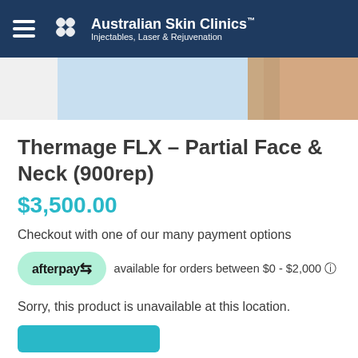Australian Skin Clinics™ Injectables, Laser & Rejuvenation
[Figure (photo): Partial view of skin/neck area with light blue background, cropped hero image]
Thermage FLX – Partial Face & Neck (900rep)
$3,500.00
Checkout with one of our many payment options
afterpay available for orders between $0 - $2,000 ℹ
Sorry, this product is unavailable at this location.